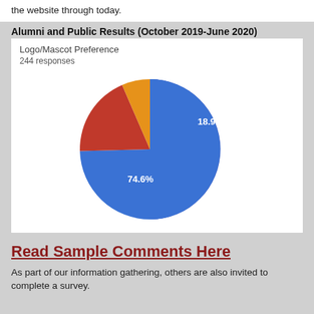the website through today.
Alumni and Public Results (October 2019-June 2020)
[Figure (pie-chart): Logo/Mascot Preference]
Read Sample Comments Here
As part of our information gathering, others are also invited to complete a survey.